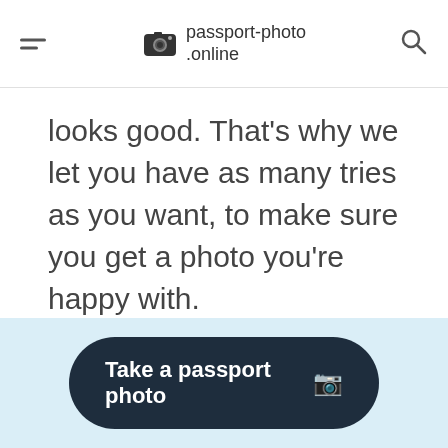passport-photo.online
looks good. That's why we let you have as many tries as you want, to make sure you get a photo you're happy with.
Take a passport photo 📷